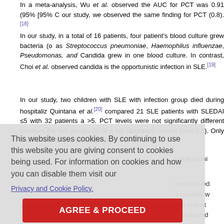In a meta-analysis, Wu et al. observed the AUC for PCT was 0.91 (95% [95% C our study, we observed the same finding for PCT (0.8).[18]
In our study, in a total of 16 patients, four patient's blood culture grew bacteria (o as Streptococcus pneumoniae, Haemophilus influenzae, Pseudomonas, and Candida grew in one blood culture. In contrast, Choi et al. observed candida is the opportunistic infection in SLE.[19]
In our study, two children with SLE with infection group died during hospitaliz Quintana et al.[20] compared 21 SLE patients with SLEDAI ≤5 with 32 patients a >5. PCT levels were not significantly different between the two groups (0.08 n my laboratory normal blast 0.5). Only three of the 32 patients with SLEDAI >5 had r pneumoni
ter, followed e patients w ight indicat y evaluated ne disease. st in identify -making.
Financial support and sponsorship
This website uses cookies. By continuing to use this website you are giving consent to cookies being used. For information on cookies and how you can disable them visit our Privacy and Cookie Policy.